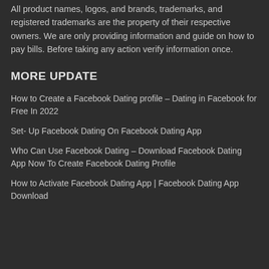All product names, logos, and brands, trademarks, and registered trademarks are the property of their respective owners. We are only providing information and guide on how to pay bills. Before taking any action verify information once.
MORE UPDATE
How to Create a Facebook Dating profile – Dating in Facebook for Free In 2022
Set- Up Facebook Dating On Facebook Dating App
Who Can Use Facebook Dating – Download Facebook Dating App Now To Create Facebook Dating Profile
How to Activate Facebook Dating App | Facebook Dating App Download